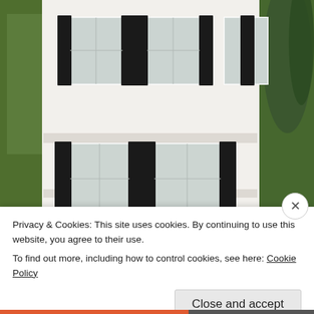[Figure (photo): A white two-story building with black shuttered windows flanked by green trees on the left and a palm tree on the right.]
Privacy & Cookies: This site uses cookies. By continuing to use this website, you agree to their use.
To find out more, including how to control cookies, see here: Cookie Policy
Close and accept